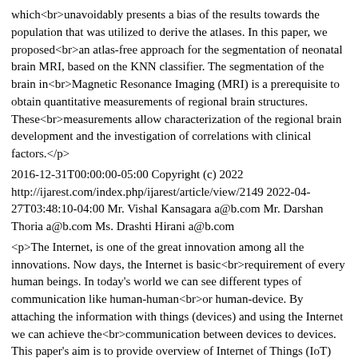which<br>unavoidably presents a bias of the results towards the population that was utilized to derive the atlases. In this paper, we proposed<br>an atlas-free approach for the segmentation of neonatal brain MRI, based on the KNN classifier. The segmentation of the brain in<br>Magnetic Resonance Imaging (MRI) is a prerequisite to obtain quantitative measurements of regional brain structures. These<br>measurements allow characterization of the regional brain development and the investigation of correlations with clinical factors.</p>
2016-12-31T00:00:00-05:00 Copyright (c) 2022 http://ijarest.com/index.php/ijarest/article/view/2149 2022-04-27T03:48:10-04:00 Mr. Vishal Kansagara a@b.com Mr. Darshan Thoria a@b.com Ms. Drashti Hirani a@b.com
<p>The Internet, is one of the great innovation among all the innovations. Now days, the Internet is basic<br>requirement of every human beings. In today's world we can see different types of communication like human-human<br>or human-device. By attaching the information with things (devices) and using the Internet we can achieve the<br>communication between devices to devices. This paper's aim is to provide overview of Internet of Things (IoT) and it<br>also describes six layered architecture of Internet of Things.</p>
2016-12-31T00:00:00-05:00 Copyright (c) 2022 http://ijarest.com/index.php/ijarest/article/view/2150 2022-04-27T03:54:46-04:00 Pooja Vasani a@b.com Nishant Sanghani a@b.com Ruvi Khimani a@b.com